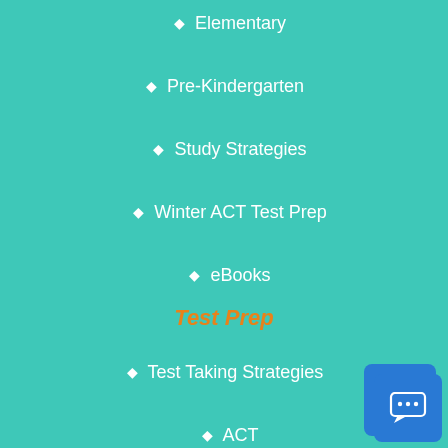Elementary
Pre-Kindergarten
Study Strategies
Winter ACT Test Prep
eBooks
Test Prep
Test Taking Strategies
ACT
AP Tests
SAT
In School Program
Homework Helpers Program
Become a Tutor